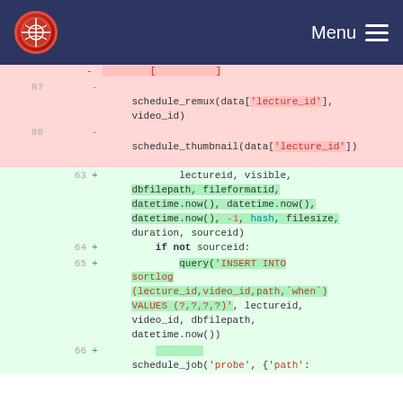Menu
[Figure (screenshot): Code diff view showing deleted lines 87-88 with schedule_remux and schedule_thumbnail calls, and added lines 63-66 with lectureid, dbfilepath, datetime.now(), hash, filesize, duration, sourceid parameters, if not sourceid check, query INSERT INTO sortlog statement, and schedule_job call.]